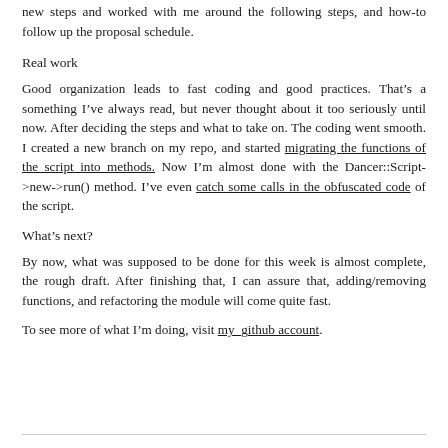new steps and worked with me around the following steps, and how-to follow up the proposal schedule.
Real work
Good organization leads to fast coding and good practices. That’s a something I’ve always read, but never thought about it too seriously until now. After deciding the steps and what to take on. The coding went smooth. I created a new branch on my repo, and started migrating the functions of the script into methods. Now I’m almost done with the Dancer::Script->new->run() method. I’ve even catch some calls in the obfuscated code of the script.
What’s next?
By now, what was supposed to be done for this week is almost complete, the rough draft. After finishing that, I can assure that, adding/removing functions, and refactoring the module will come quite fast.
To see more of what I’m doing, visit my_github account.